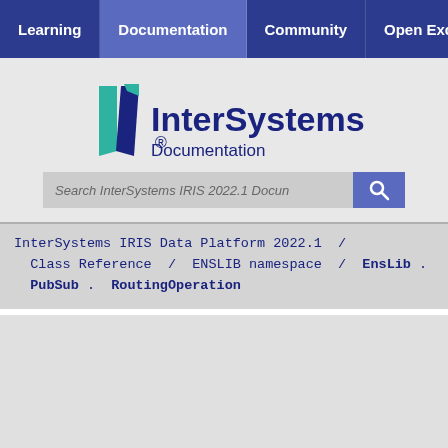Learning  Documentation  Community  Open Excha
[Figure (logo): InterSystems Documentation logo with teal/navy icon and text]
Search InterSystems IRIS 2022.1 Docun
InterSystems IRIS Data Platform 2022.1 / Class Reference / ENSLIB namespace / EnsLib . PubSub . RoutingOperation
Cookie Settings
By clicking “Accept All Cookies”, you agree to the storing of cookies on your device to enhance site navigation, analyze site usage, and assist in our marketing efforts.